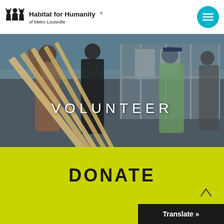Habitat for Humanity of Metro Louisville
[Figure (photo): Volunteers lifting wooden lumber beams at a Habitat for Humanity construction site, with a house frame in the background]
VOLUNTEER
DONATE
Translate »